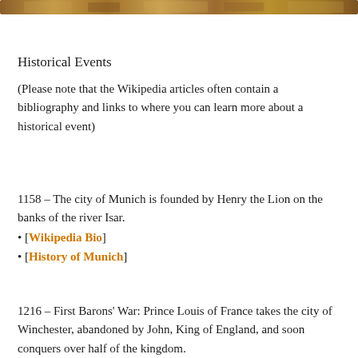[Figure (photo): Partial decorative image strip at the top of the page, showing a historical or textured brown image cropped at the very top edge.]
Historical Events
(Please note that the Wikipedia articles often contain a bibliography and links to where you can learn more about a historical event)
1158 – The city of Munich is founded by Henry the Lion on the banks of the river Isar.
• [Wikipedia Bio]
• [History of Munich]
1216 – First Barons' War: Prince Louis of France takes the city of Winchester, abandoned by John, King of England, and soon conquers over half of the kingdom.